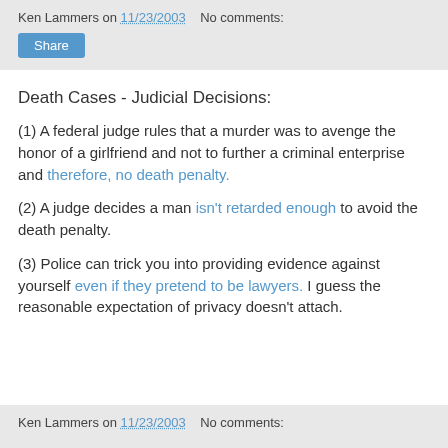Ken Lammers on 11/23/2003   No comments:
Share
Death Cases - Judicial Decisions:
(1) A federal judge rules that a murder was to avenge the honor of a girlfriend and not to further a criminal enterprise and therefore, no death penalty.
(2) A judge decides a man isn't retarded enough to avoid the death penalty.
(3) Police can trick you into providing evidence against yourself even if they pretend to be lawyers. I guess the reasonable expectation of privacy doesn't attach.
Ken Lammers on 11/23/2003   No comments: